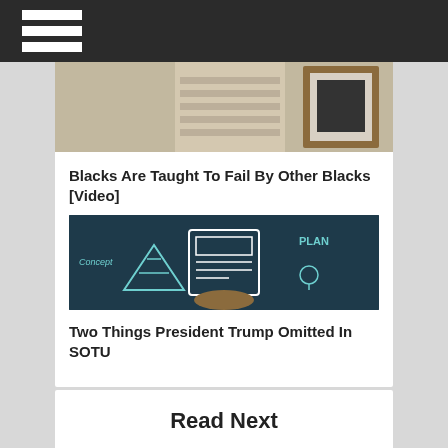[Figure (screenshot): Dark top navigation bar with hamburger menu icon (three white horizontal lines)]
[Figure (photo): Partial photo visible at top of white card, showing an interior scene with blinds and a framed picture]
Blacks Are Taught To Fail By Other Blacks [Video]
[Figure (photo): Thumbnail image showing a dark chalkboard with chalk drawings of concepts like pyramid, plan, ideas; a hand holds a smartphone/tablet showing a newspaper icon]
Two Things President Trump Omitted In SOTU
Read Next